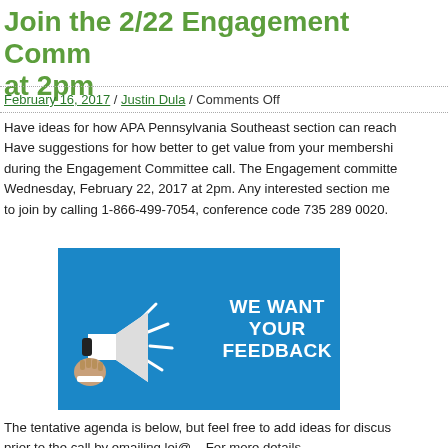Join the 2/22 Engagement Committee Call at 2pm
February 16, 2017 / Justin Dula / Comments Off
Have ideas for how APA Pennsylvania Southeast section can reach out more? Have suggestions for how better to get value from your membership? Share them during the Engagement Committee call. The Engagement committee will meet on Wednesday, February 22, 2017 at 2pm. Any interested section members are welcome to join by calling 1-866-499-7054, conference code 735 289 0020.
[Figure (illustration): Blue promotional image with a hand holding a megaphone and bold white text reading WE WANT YOUR FEEDBACK]
The tentative agenda is below, but feel free to add ideas for discussion prior to the call by emailing lei@... For more details...